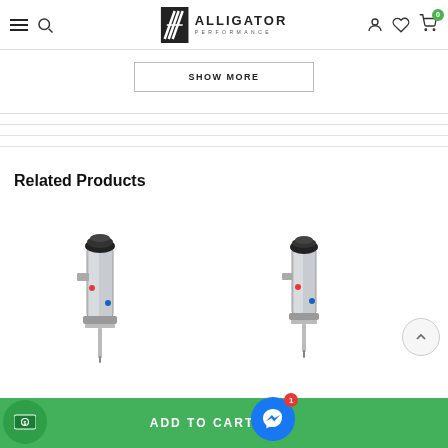Alligator Performance - navigation header with hamburger menu, search, logo, user, wishlist, cart (0)
SHOW MORE
Related Products
[Figure (photo): Silver hydraulic/pneumatic cylinder tool product photo on white background - left card]
[Figure (photo): Silver hydraulic/pneumatic cylinder tool product photo on white background - right card]
ADD TO CART